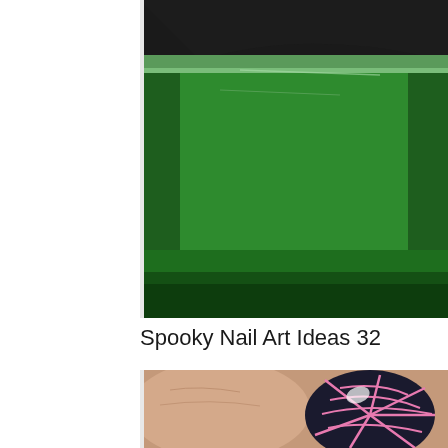[Figure (photo): Close-up photo of green nail polish or green jar/container with reflective surface and glossy green color]
Spooky Nail Art Ideas 32
[Figure (photo): Close-up photo of a fingernail painted black with a pink spiderweb design on it, finger skin visible in the background]